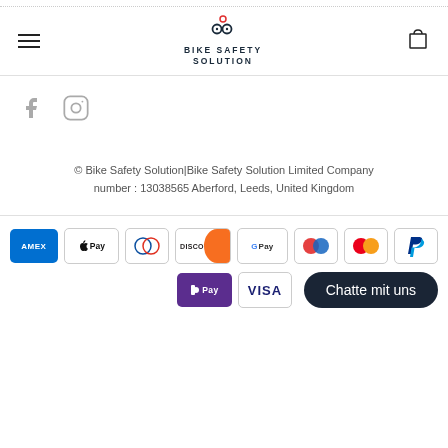[Figure (logo): Bike Safety Solution logo with icon and text]
[Figure (infographic): Social media icons: Facebook and Instagram]
© Bike Safety Solution|Bike Safety Solution Limited Company number : 13038565 Aberford, Leeds, United Kingdom
[Figure (infographic): Payment method icons: Amex, Apple Pay, Diners Club, Discover, Google Pay, Mastercard (two variants), PayPal, DPay, Visa. Also a chat button: Chatte mit uns]